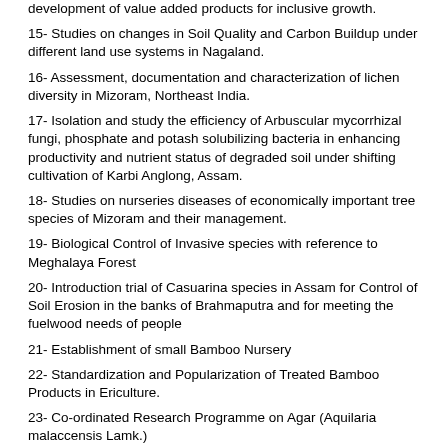development of value added products for inclusive growth.
15- Studies on changes in Soil Quality and Carbon Buildup under different land use systems in Nagaland.
16- Assessment, documentation and characterization of lichen diversity in Mizoram, Northeast India.
17- Isolation and study the efficiency of Arbuscular mycorrhizal fungi, phosphate and potash solubilizing bacteria in enhancing productivity and nutrient status of degraded soil under shifting cultivation of Karbi Anglong, Assam.
18- Studies on nurseries diseases of economically important tree species of Mizoram and their management.
19- Biological Control of Invasive species with reference to Meghalaya Forest
20- Introduction trial of Casuarina species in Assam for Control of Soil Erosion in the banks of Brahmaputra and for meeting the fuelwood needs of people
21- Establishment of small Bamboo Nursery
22- Standardization and Popularization of Treated Bamboo Products in Ericulture.
23- Co-ordinated Research Programme on Agar (Aquilaria malaccensis Lamk.)
24- Conservation and Evaluation of Bamboo Genetic Resources